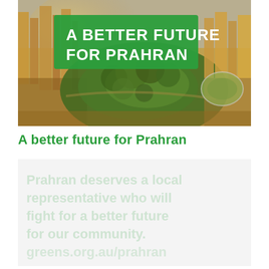[Figure (photo): Aerial photo of Prahran/Melbourne area showing city buildings, parkland (likely Albert Park or similar), and a stadium, with warm golden light. A green banner overlay reads 'A BETTER FUTURE FOR PRAHRAN' in bold white text.]
A better future for Prahran
[Figure (photo): A second image or text block beneath the title, showing heavily faded/blurred green text content that is not legible, displayed on a light grey background.]